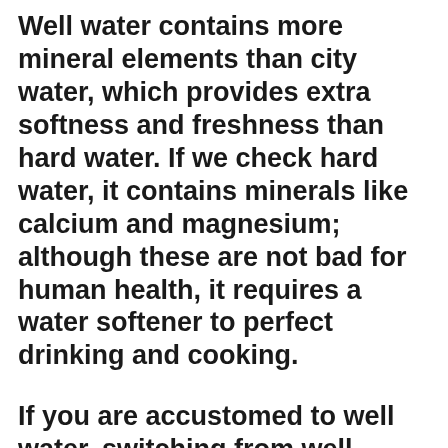Well water contains more mineral elements than city water, which provides extra softness and freshness than hard water. If we check hard water, it contains minerals like calcium and magnesium; although these are not bad for human health, it requires a water softener to perfect drinking and cooking.
If you are accustomed to well water, switching from well water to city water can harm you.